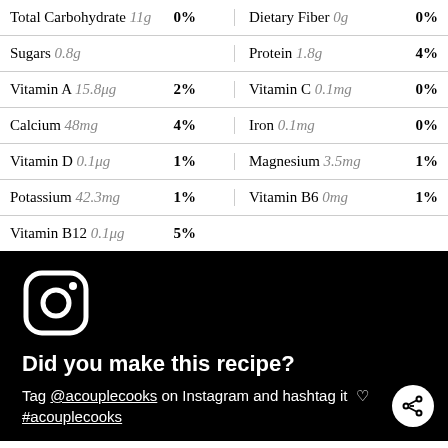| Nutrient | %DV | Nutrient | %DV |
| --- | --- | --- | --- |
| Total Carbohydrate 11g | 0% | Dietary Fiber 0g | 0% |
| Sugars 0.8g |  | Protein 1.8g | 4% |
| Vitamin A 15.8μg | 2% | Vitamin C 0.1mg | 0% |
| Calcium 48mg | 4% | Iron 0.1mg | 0% |
| Vitamin D 0.1μg | 1% | Magnesium 3.5mg | 1% |
| Potassium 42.3mg | 1% | Vitamin B6 0mg | 1% |
| Vitamin B12 0.1μg | 5% |  |  |
[Figure (logo): Instagram logo icon in white on black background]
Did you make this recipe?
Tag @acouplecooks on Instagram and hashtag it ♡ #acouplecooks